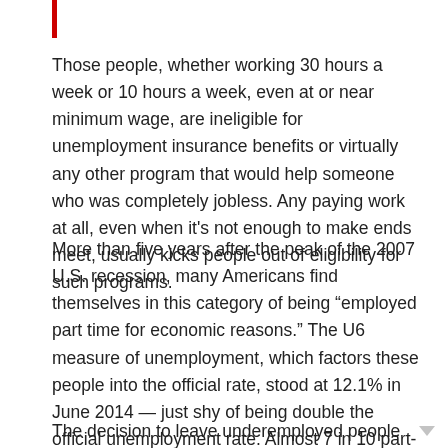Those people, whether working 30 hours a week or 10 hours a week, even at or near minimum wage, are ineligible for unemployment insurance benefits or virtually any other program that would help someone who was completely jobless. Any paying work at all, even when it's not enough to make ends meet, usually kicks people out of eligibility for such programs.
More than five years after the peak of the 2007 U.S. recession, many Americans find themselves in this category of being “employed part time for economic reasons.” The U6 measure of unemployment, which factors these people into the official rate, stood at 12.1% in June 2014 — just shy of being double the official unemployment rate. Almost 7 in 10 part-time workers right now would like to work full-time.
The decision to leave underemployed people out of the official